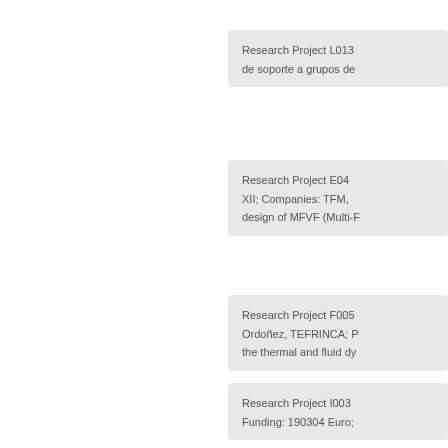Research Project L013 de soporte a grupos de
Research Project E04 XII; Companies: TFM, design of MFVF (Multi-F
Research Project F005 Ordoñez, TEFRINCA; the thermal and fluid dy
Research Project I003 Funding: 190304 Euro;